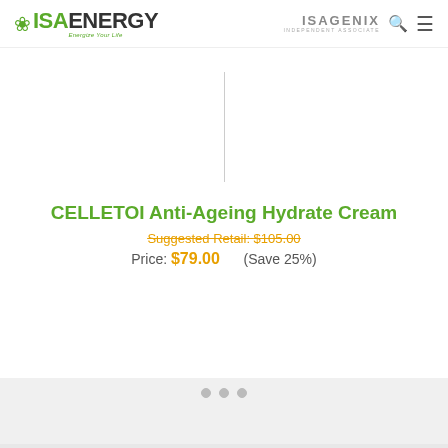ISA ENERGY — Energize Your Life | ISAGENIX INDEPENDENT ASSOCIATE
[Figure (illustration): Vertical thin gray divider line acting as image placeholder in the center of the page]
CELLETOI Anti-Ageing Hydrate Cream
Suggested Retail: $105.00
Price: $79.00    (Save 25%)